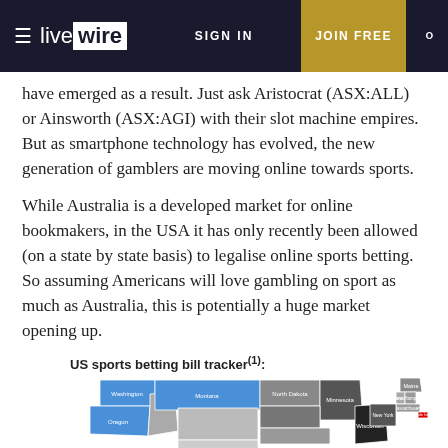livewire | SIGN IN | JOIN FREE
have emerged as a result. Just ask Aristocrat (ASX:ALL) or Ainsworth (ASX:AGI) with their slot machine empires. But as smartphone technology has evolved, the new generation of gamblers are moving online towards sports.
While Australia is a developed market for online bookmakers, in the USA it has only recently been allowed (on a state by state basis) to legalise online sports betting. So assuming Americans will love gambling on sport as much as Australia, this is potentially a huge market opening up.
US sports betting bill tracker(1):
[Figure (map): US map showing states with sports betting legalization status, colored in blue and grey, with eastern seaboard inset showing states including Washington, Oregon, Montana, North Dakota, Minnesota, Wisconsin, Maine, Vermont, New Hampshire, Massachusetts, Rhode Island, New York]